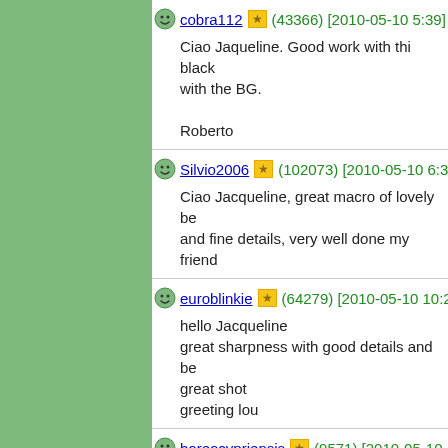cobra112 (43366) [2010-05-10 5:39] Ciao Jaqueline. Good work with thi black with the BG. Roberto
Silvio2006 (102073) [2010-05-10 6:32] Ciao Jacqueline, great macro of lovely be and fine details, very well done my friend
euroblinkie (64279) [2010-05-10 10:24] hello Jacqueline great sharpness with good details and be great shot greeting lou
boreocypriensis (9571) [2010-05-10 1] Bonsoir mon amie Jacqueline, Awesome capture of this pretty dor beetle excellent lighting! TFS and have a nice night MF! Cheers, Bayram
foozi (25839) [2010-05-11 3:21]